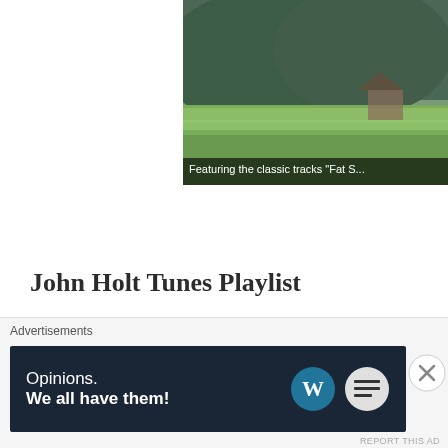[Figure (photo): Partial album cover image showing green grass field with hills/mountains in background and a structure barely visible. Caption bar reads: Featuring the classic tracks "Fat S..."]
John Holt Tunes Playlist
1. Riding For A Fall
2. A Love I Can Feel
3. Up Park Camp
Advertisements
[Figure (infographic): WordPress advertisement banner reading: Opinions. We all have them! With WordPress and Daily Post logos on the right.]